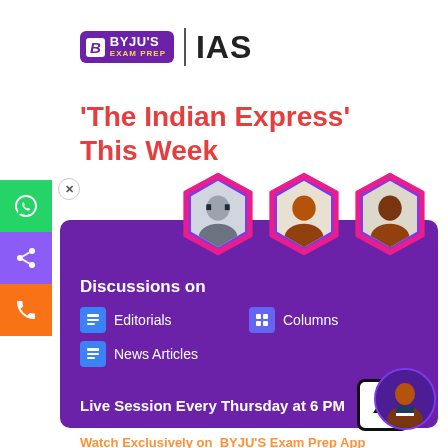[Figure (logo): BYJU'S Exam Prep IAS logo with purple background and IAS text]
'The Indian Express' This Week
[Figure (photo): Three instructor headshot photos in hexagonal frames with pink/purple borders]
Discussions on
Editorials
Columns
News Articles
Live Session Every Thursday at 6 PM
Watch Exclusively on BYJU'S Exam Prep App
KNOW MORE